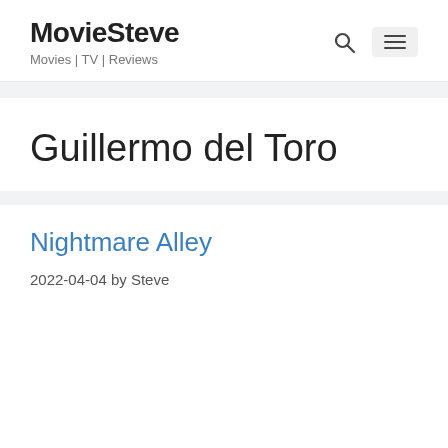MovieSteve
Movies | TV | Reviews
Guillermo del Toro
Nightmare Alley
2022-04-04 by Steve